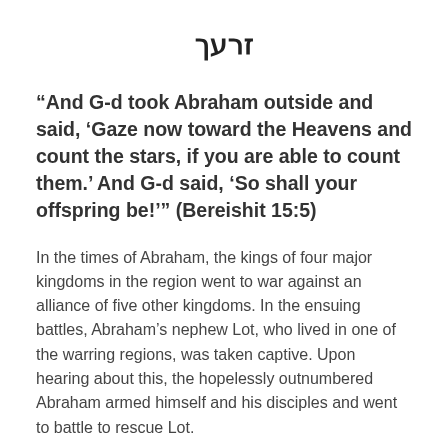זרעך
“And G-d took Abraham outside and said, ‘Gaze now toward the Heavens and count the stars, if you are able to count them.’ And G-d said, ‘So shall your offspring be!’” (Bereishit 15:5)
In the times of Abraham, the kings of four major kingdoms in the region went to war against an alliance of five other kingdoms. In the ensuing battles, Abraham’s nephew Lot, who lived in one of the warring regions, was taken captive. Upon hearing about this, the hopelessly outnumbered Abraham armed himself and his disciples and went to battle to rescue Lot.
After Abraham miraculously defeated the armies of the four kings and rescued Lot and the other